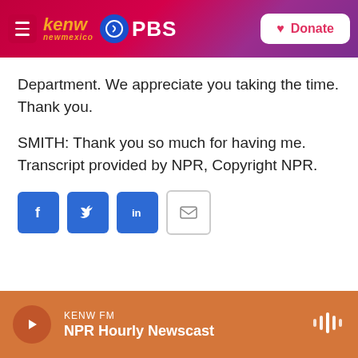[Figure (logo): KENW New Mexico PBS logo with hamburger menu and Donate button in header bar]
Department. We appreciate you taking the time. Thank you.
SMITH: Thank you so much for having me. Transcript provided by NPR, Copyright NPR.
[Figure (infographic): Social share buttons: Facebook, Twitter, LinkedIn, Email]
KENW FM
NPR Hourly Newscast